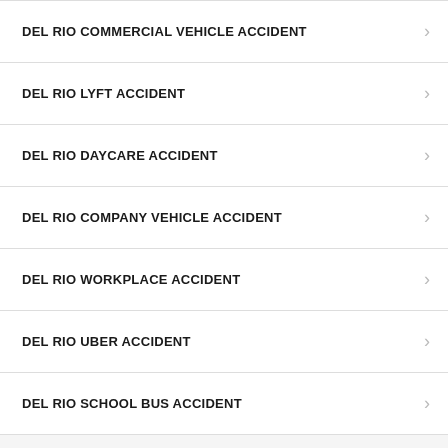DEL RIO COMMERCIAL VEHICLE ACCIDENT
DEL RIO LYFT ACCIDENT
DEL RIO DAYCARE ACCIDENT
DEL RIO COMPANY VEHICLE ACCIDENT
DEL RIO WORKPLACE ACCIDENT
DEL RIO UBER ACCIDENT
DEL RIO SCHOOL BUS ACCIDENT